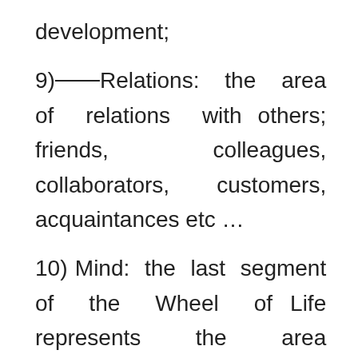development;
9) Relations: the area of relations with others; friends, colleagues, collaborators, customers, acquaintances etc…
10) Mind: the last segment of the Wheel of Life represents the area relating to the development of all those processes that involve one's mind.
For each segment there are lines that indicate your degree of satisfaction: it can range from a minimum of 1 to a maximum of 10. If there is an area in which we feel